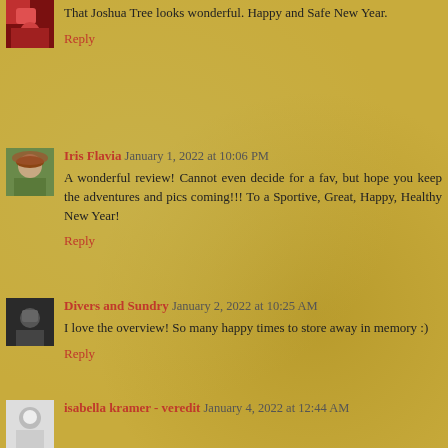That Joshua Tree looks wonderful. Happy and Safe New Year.
Reply
Iris Flavia  January 1, 2022 at 10:06 PM
A wonderful review! Cannot even decide for a fav, but hope you keep the adventures and pics coming!!! To a Sportive, Great, Happy, Healthy New Year!
Reply
Divers and Sundry  January 2, 2022 at 10:25 AM
I love the overview! So many happy times to store away in memory :)
Reply
isabella kramer - veredit  January 4, 2022 at 12:44 AM